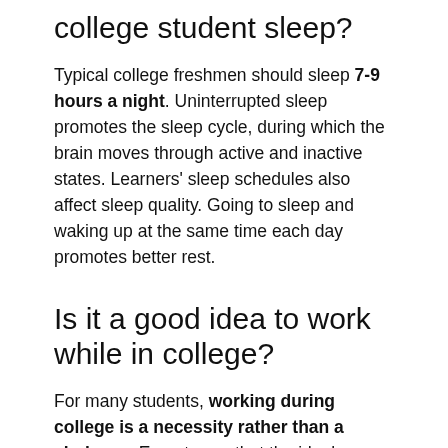college student sleep?
Typical college freshmen should sleep 7-9 hours a night. Uninterrupted sleep promotes the sleep cycle, during which the brain moves through active and inactive states. Learners' sleep schedules also affect sleep quality. Going to sleep and waking up at the same time each day promotes better rest.
Is it a good idea to work while in college?
For many students, working during college is a necessity rather than a choice. ... Experts say that the ideal number of hours for students to work is 10-15 a...